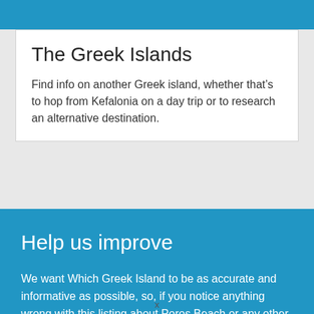[Figure (map): Blue map banner showing a Greek island outline in white against a blue background]
The Greek Islands
Find info on another Greek island, whether that’s to hop from Kefalonia on a day trip or to research an alternative destination.
Help us improve
We want Which Greek Island to be as accurate and informative as possible, so, if you notice anything wrong with this listing about Poros Beach or any other page please let us know.
There may, from time to time be places on an island that we’ve missed completely so if you see a town…
x